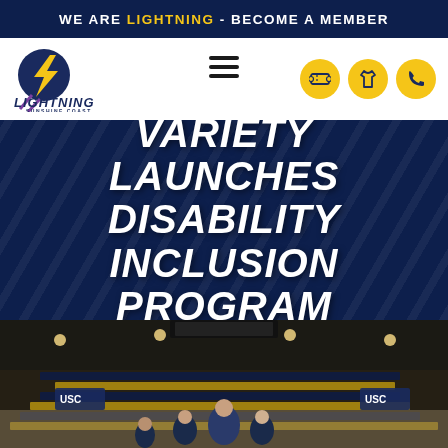WE ARE LIGHTNING - BECOME A MEMBER
[Figure (logo): Sunshine Coast Lightning netball club logo with lightning bolt and globe]
VARIETY LAUNCHES DISABILITY INCLUSION PROGRAM
[Figure (photo): People posing in a netball arena (USC venue) with blue and yellow seats in background]